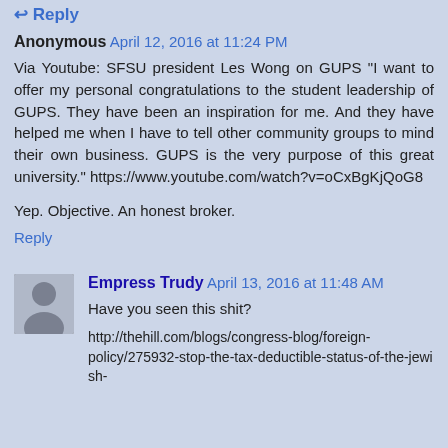Reply
Anonymous April 12, 2016 at 11:24 PM
Via Youtube: SFSU president Les Wong on GUPS "I want to offer my personal congratulations to the student leadership of GUPS. They have been an inspiration for me. And they have helped me when I have to tell other community groups to mind their own business. GUPS is the very purpose of this great university." https://www.youtube.com/watch?v=oCxBgKjQoG8
Yep. Objective. An honest broker.
Reply
Empress Trudy April 13, 2016 at 11:48 AM
Have you seen this shit?
http://thehill.com/blogs/congress-blog/foreign-policy/275932-stop-the-tax-deductible-status-of-the-jewish-